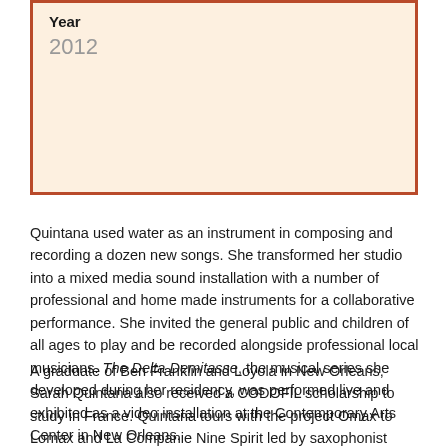| Year |
| --- |
| 2012 |
Quintana used water as an instrument in composing and recording a dozen new songs. She transformed her studio into a mixed media sound installation with a number of professional and home made instruments for a collaborative performance. She invited the general public and children of all ages to play and be recorded alongside professional local musicians. The Delta Demitasse, the musical series she developed during her residency, was performed live and exhibited as a video installation at the Contemporary Arts Center in New Orleans.
A graduate of Ben Franklin and Loyola in New Orleans, Sarah Quintana also received a CODOFIL scholarship to study in France. Quintana tours with the project Omax to Lomax and La Companie Nine Spirit led by saxophonist Raphael Imbert from Marseille. Her first albums of her original...The World We